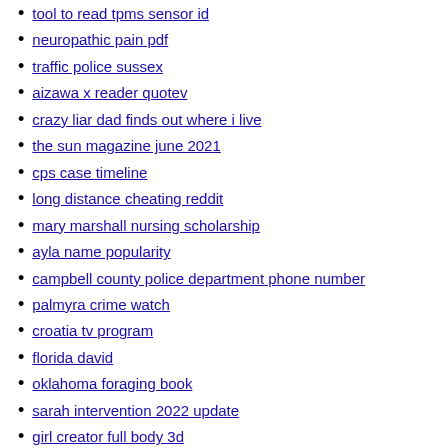tool to read tpms sensor id
neuropathic pain pdf
traffic police sussex
aizawa x reader quotev
crazy liar dad finds out where i live
the sun magazine june 2021
cps case timeline
long distance cheating reddit
mary marshall nursing scholarship
ayla name popularity
campbell county police department phone number
palmyra crime watch
croatia tv program
florida david
oklahoma foraging book
sarah intervention 2022 update
girl creator full body 3d
shabbat chabad
auglaize county extension
5dp5dt
airbnb startup cost
small cottages for sale edinburgh
star citizen constellation how to undock
sqlite for ipad
original sound tiktok
adagio pembrokeshire